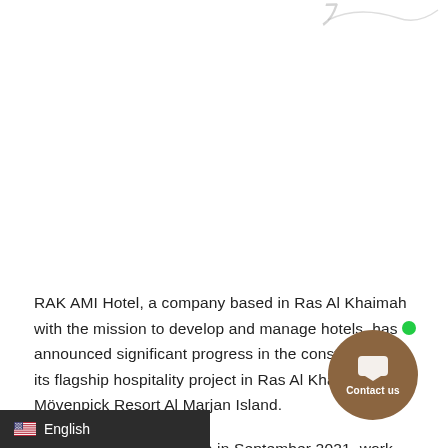[Figure (illustration): Decorative calligraphic/script element at top right of page, partially visible]
RAK AMI Hotel, a company based in Ras Al Khaimah with the mission to develop and manage hotels, has announced significant progress in the construction of its flagship hospitality project in Ras Al Khaimah, the Mövenpick Resort Al Marjan Island.
Scheduled for completion in September 2021, work on Mövenpick Al Marjan Island has been progressing as per schedule, despite the challenges
[Figure (other): Contact us chat button — brown circle with chat icon and 'Contact us' label, with green online indicator dot]
[Figure (other): Language selector bar showing US flag and 'English' text on dark background]